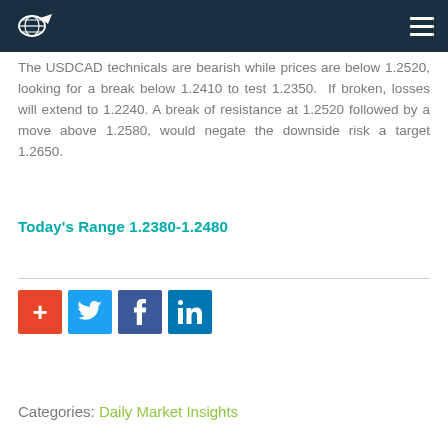Logo and navigation header
The USDCAD technicals are bearish while prices are below 1.2520, looking for a break below 1.2410 to test 1.2350. If broken, losses will extend to 1.2240. A break of resistance at 1.2520 followed by a move above 1.2580, would negate the downside risk a target 1.2650.
Today’s Range 1.2380-1.2480
[Figure (other): Social sharing icons: plus/add, Twitter, Facebook, LinkedIn]
Categories: Daily Market Insights